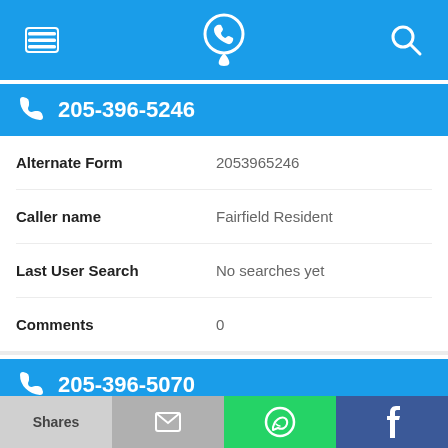Navigation bar with menu, phone lookup logo, and search icons
205-396-5246
Alternate Form: 2053965246
Caller name: Fairfield Resident
Last User Search: No searches yet
Comments: 0
205-396-5070
Alternate Form: 2053965070
Shares | Email | WhatsApp | Facebook